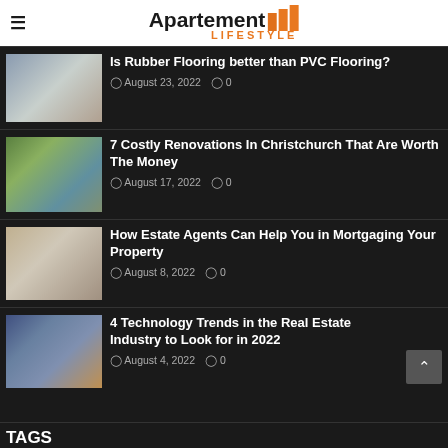Apartement Lifestyle
Is Rubber Flooring better than PVC Flooring?
August 23, 2022  0
7 Costly Renovations In Christchurch That Are Worth The Money
August 17, 2022  0
How Estate Agents Can Help You in Mortgaging Your Property
August 8, 2022  0
4 Technology Trends in the Real Estate Industry to Look for in 2022
August 4, 2022  0
TAGS